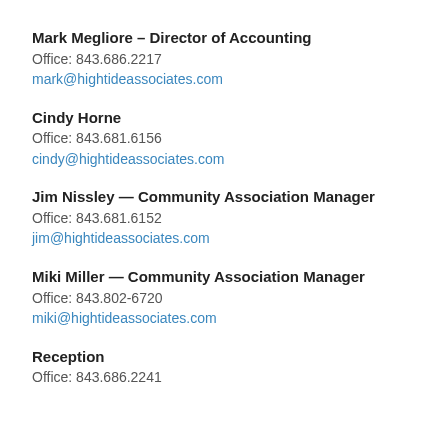Mark Megliore – Director of Accounting
Office: 843.686.2217
mark@hightideassociates.com
Cindy Horne
Office: 843.681.6156
cindy@hightideassociates.com
Jim Nissley — Community Association Manager
Office: 843.681.6152
jim@hightideassociates.com
Miki Miller — Community Association Manager
Office: 843.802-6720
miki@hightideassociates.com
Reception
Office: 843.686.2241